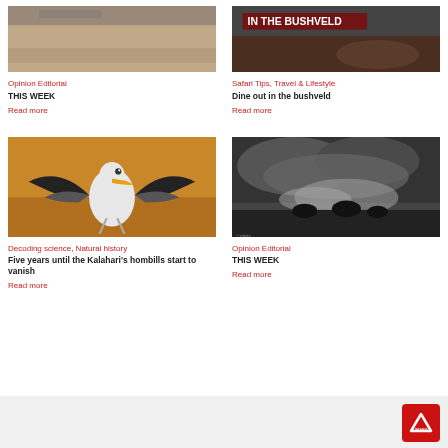[Figure (photo): Top left article photo - nature/editorial image]
Opinion Editorial
THIS WEEK
Read more
[Figure (photo): Top right article photo - bushveld dining scene with text overlay]
Safari Tips, Travel & Lifestyle
Dine out in the bushveld
Read more
[Figure (photo): Yellow-billed hornbill bird with wings spread in flight against orange sandy background]
Decoding science, Natural history
Five years until the Kalahari's hombills start to vanish
Read more
[Figure (photo): Wildebeest stampede in dust cloud and stormy sky]
Opinion Editorial
THIS WEEK
Read more